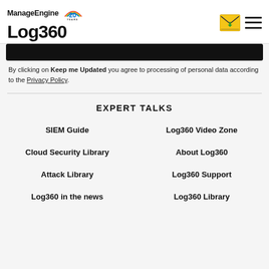ManageEngine 20 YEARS Log360
[Figure (screenshot): Black bar - partially visible content above]
By clicking on Keep me Updated you agree to processing of personal data according to the Privacy Policy.
EXPERT TALKS
SIEM Guide
Log360 Video Zone
Cloud Security Library
About Log360
Attack Library
Log360 Support
Log360 in the news
Log360 Library